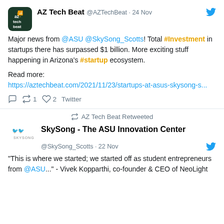[Figure (logo): AZ Tech Beat logo - dark green square with az wifi icon and text 'az tech beat']
AZ Tech Beat @AZTechBeat · 24 Nov
Major news from @ASU @SkySong_Scotts! Total #Investment in startups there has surpassed $1 billion. More exciting stuff happening in Arizona's #startup ecosystem.
Read more:
https://aztechbeat.com/2021/11/23/startups-at-asus-skysong-s...
↩1  ♡2  Twitter
↩ AZ Tech Beat Retweeted
[Figure (logo): SkySong logo with bird icons and text SKYSONG]
SkySong - The ASU Innovation Center
@SkySong_Scotts · 22 Nov
"This is where we started; we started off as student entrepreneurs from @ASU..." - Vivek Kopparthi, co-founder & CEO of NeoLight